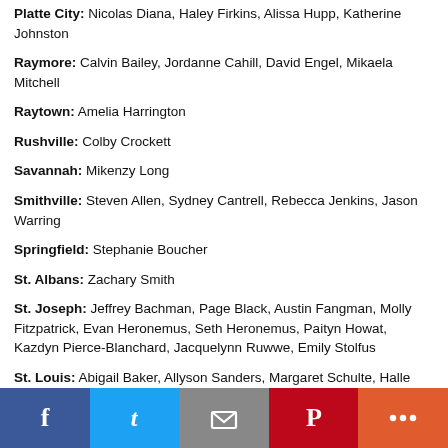Platte City: Nicolas Diana, Haley Firkins, Alissa Hupp, Katherine Johnston
Raymore: Calvin Bailey, Jordanne Cahill, David Engel, Mikaela Mitchell
Raytown: Amelia Harrington
Rushville: Colby Crockett
Savannah: Mikenzy Long
Smithville: Steven Allen, Sydney Cantrell, Rebecca Jenkins, Jason Warring
Springfield: Stephanie Boucher
St. Albans: Zachary Smith
St. Joseph: Jeffrey Bachman, Page Black, Austin Fangman, Molly Fitzpatrick, Evan Heronemus, Seth Heronemus, Paityn Howat, Kazdyn Pierce-Blanchard, Jacquelynn Ruwwe, Emily Stolfus
St. Louis: Abigail Baker, Allyson Sanders, Margaret Schulte, Halle Sparks, Meredith Verzino
St. Peters: Evan Steckline